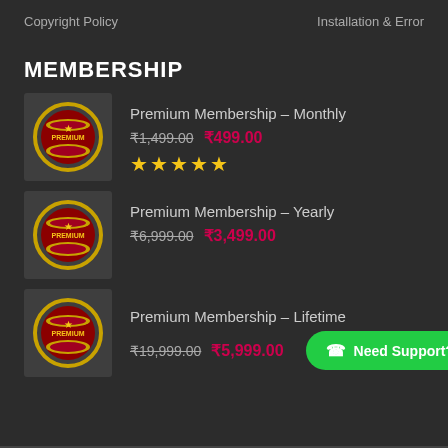Copyright Policy    Installation & Error
MEMBERSHIP
Premium Membership – Monthly  ₹1,499.00  ₹499.00  ★★★★★
Premium Membership – Yearly  ₹6,999.00  ₹3,499.00
Premium Membership – Lifetime  ₹19,999.00  ₹5,999.00
Need Support?